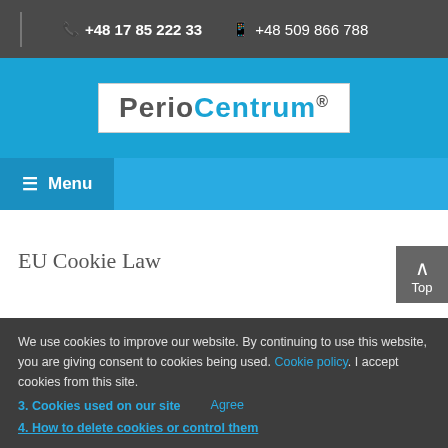+48 17 85 222 33   +48 509 866 788
[Figure (logo): Perio Centrum logo with registered trademark symbol on blue background]
Menu
EU Cookie Law
We use cookies to improve our website. By continuing to use this website, you are giving consent to cookies being used. Cookie policy. I accept cookies from this site.
3. Cookies used on our site
4. How to delete cookies or control them